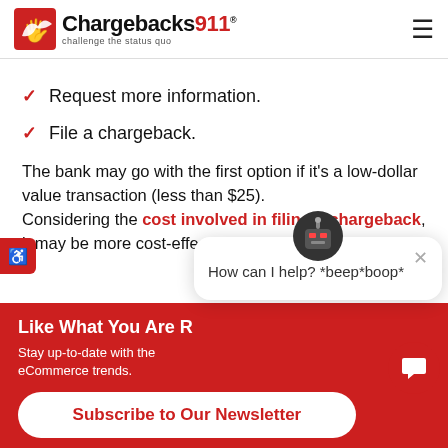Chargebacks911 - challenge the status quo
Request more information.
File a chargeback.
The bank may go with the first option if it's a low-dollar value transaction (less than $25). Considering the cost involved in filing a chargeback, it may be more cost-effective to them
Like What You Are
Stay up-to-date with the eCommerce trends.
Subscribe to Our Newsletter
How can I help? *beep*boop*